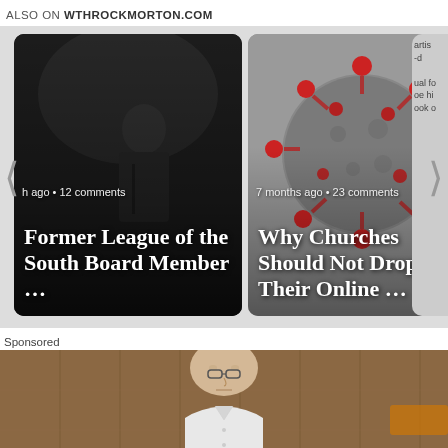ALSO ON WTHROCKMORTON.COM
[Figure (screenshot): Carousel widget showing two article cards. Left card: dark background with a person at a podium, meta text 'h ago · 12 comments', title 'Former League of the South Board Member …'. Right card: grey background with a coronavirus particle image, meta text '7 months ago · 23 comments', title 'Why Churches Should Not Drop Their Online …'. Left and right navigation arrows visible. Partially visible third card on far right edge.]
Sponsored
[Figure (photo): Photo of an older bald man in a white button-up shirt, standing in front of a wooden wall background. The photo is cropped showing him from the chest up. Partial orange sign visible on right side.]